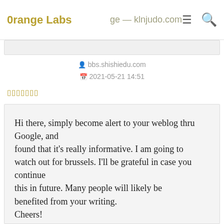0range Labs — klnjudo.com
bbs.shishiedu.com
2021-05-21 14:51
▯▯▯▯▯▯▯
Hi there, simply become alert to your weblog thru Google, and found that it's really informative. I am going to watch out for brussels. I'll be grateful in case you continue this in future. Many people will likely be benefited from your writing. Cheers!